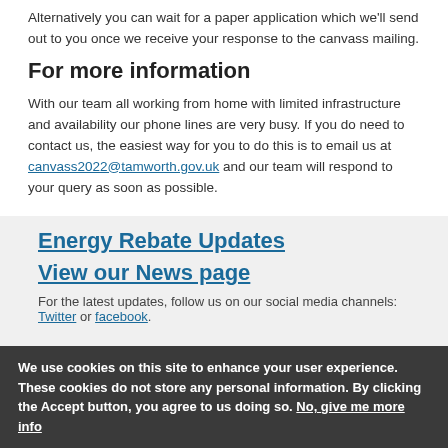Alternatively you can wait for a paper application which we'll send out to you once we receive your response to the canvass mailing.
For more information
With our team all working from home with limited infrastructure and availability our phone lines are very busy. If you do need to contact us, the easiest way for you to do this is to email us at canvass2022@tamworth.gov.uk and our team will respond to your query as soon as possible.
Energy Rebate Updates
View our News page
For the latest updates, follow us on our social media channels: Twitter or facebook.
We use cookies on this site to enhance your user experience. These cookies do not store any personal information. By clicking the Accept button, you agree to us doing so. No, give me more info